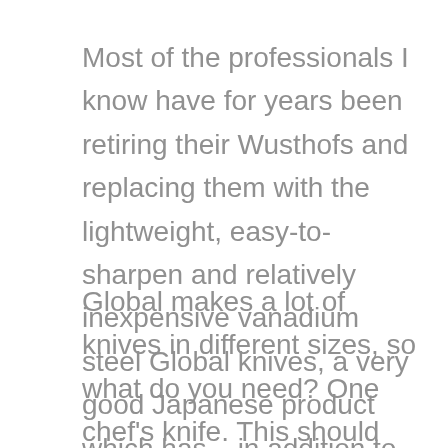Most of the professionals I know have for years been retiring their Wusthofs and replacing them with the lightweight, easy-to-sharpen and relatively inexpensive vanadium steel Global knives, a very good Japanese product which has – in addition to its many other fine qualities – the added attraction of looking really cool.
Global makes a lot of knives in different sizes, so what do you need? One chef's knife. This should cut just about anything you might work with, from a shallot to a watermelon, an onion to a sirloin strip.